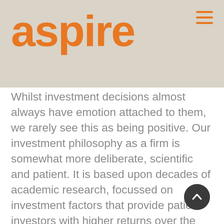aspire
Whilst investment decisions almost always have emotion attached to them, we rarely see this as being positive. Our investment philosophy as a firm is somewhat more deliberate, scientific and patient. It is based upon decades of academic research, focussed on investment factors that provide patient investors with higher returns over the long term, with evidence of such in the long term data on which the philosophy is based.
In case you were wondering, we didn't hit the jackpot, the work lottery syndicate has finished and the associated FOMO considerably lessened, so I feel I can stop playing the lottery...